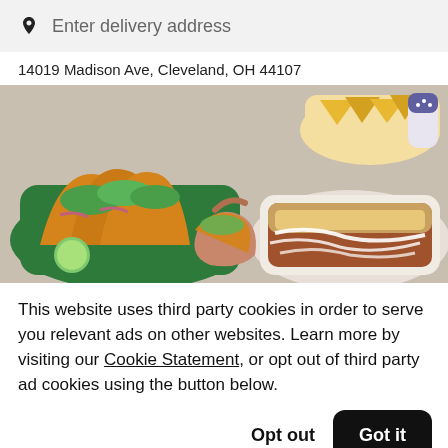Enter delivery address
14019 Madison Ave, Cleveland, OH 44107
[Figure (photo): Food photo showing tacos in a green basket with lime wedges, chips in a bowl, and a burrito bowl with white drizzle sauce on a table, with a hand holding a taco.]
This website uses third party cookies in order to serve you relevant ads on other websites. Learn more by visiting our Cookie Statement, or opt out of third party ad cookies using the button below.
Opt out
Got it